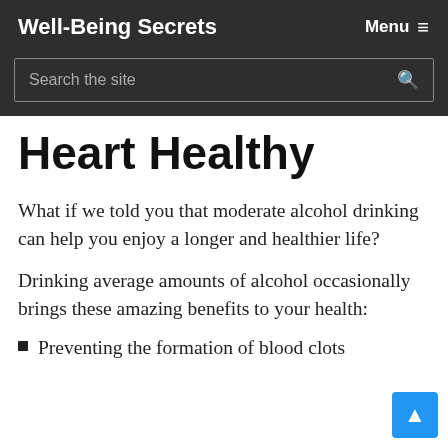Well-Being Secrets
Heart Healthy
What if we told you that moderate alcohol drinking can help you enjoy a longer and healthier life?
Drinking average amounts of alcohol occasionally brings these amazing benefits to your health:
Preventing the formation of blood clots